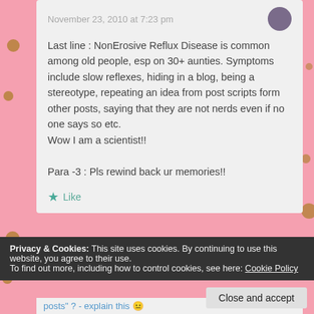November 23, 2010 at 7:23 pm
Last line : NonErosive Reflux Disease is common among old people, esp on 30+ aunties. Symptoms include slow reflexes, hiding in a blog, being a stereotype, repeating an idea from post scripts form other posts, saying that they are not nerds even if no one says so etc.
Wow I am a scientist!!

Para -3 : Pls rewind back ur memories!!
Like
Privacy & Cookies: This site uses cookies. By continuing to use this website, you agree to their use.
To find out more, including how to control cookies, see here: Cookie Policy
Close and accept
posts" ? - explain this